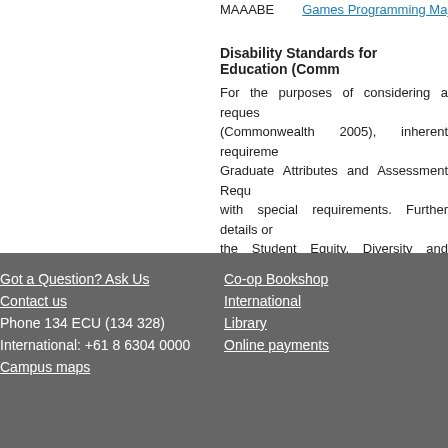MAAABE   Games Programming Major
Disability Standards for Education (Comm...
For the purposes of considering a reques... (Commonwealth 2005), inherent requireme... Graduate Attributes and Assessment Requ... with special requirements. Further details on... the Student Equity, Diversity and Disability S... http://intranet.ecu.edu.au/student/support/st...
Last Updated - Higher Education: 15/03/2013 VET: 200...
Got a Question? Ask Us | Contact us | Phone 134 ECU (134 328) | International: +61 8 6304 0000 | Campus maps | Co-op Bookshop | International | Library | Online payments